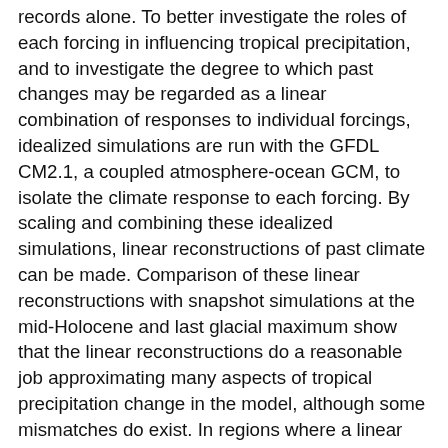records alone. To better investigate the roles of each forcing in influencing tropical precipitation, and to investigate the degree to which past changes may be regarded as a linear combination of responses to individual forcings, idealized simulations are run with the GFDL CM2.1, a coupled atmosphere-ocean GCM, to isolate the climate response to each forcing. By scaling and combining these idealized simulations, linear reconstructions of past climate can be made. Comparison of these linear reconstructions with snapshot simulations at the mid-Holocene and last glacial maximum show that the linear reconstructions do a reasonable job approximating many aspects of tropical precipitation change in the model, although some mismatches do exist. In regions where a linear reconstruction does a good job replicating precipitation changes, the components of the reconstruction can offer insight into the mechanisms driving the change. Monsoons are well captured by the linear reconstructions, and respond strongly to precession at the mid-Holocene and greenhouse gases and ice sheets at the LGM. The idealized simulations help isolate the influence of each forcing so that cause and effect relationships may be more easily explored. Linear reconstructions can also be compared against tropical proxy records to help test hypotheses of past precipitation change.